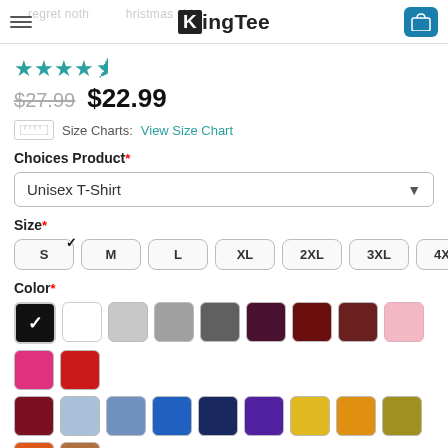KingTee
★★★★½
$27.99  $22.99
Size Charts: View Size Chart
Choices Product*
Unisex T-Shirt
Size*
S  M  L  XL  2XL  3XL  4XL  5XL
Color*
[Figure (infographic): Color swatches: black (selected), white, light gray, medium gray, dark gray, dark purple, dark red, brown-red, pink, hot pink, red, maroon, light blue, blue, navy, purple, gold yellow, orange yellow, olive yellow, orange, tan/brown]